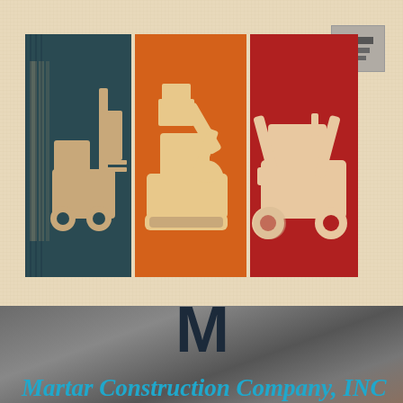[Figure (illustration): Three vintage-style retro illustration panels side by side: left panel shows a forklift on dark teal/navy background, middle panel shows an excavator/bulldozer on orange background, right panel shows a skid steer loader on red background. All in cream/tan print style.]
M
Martar Construction Company, INC